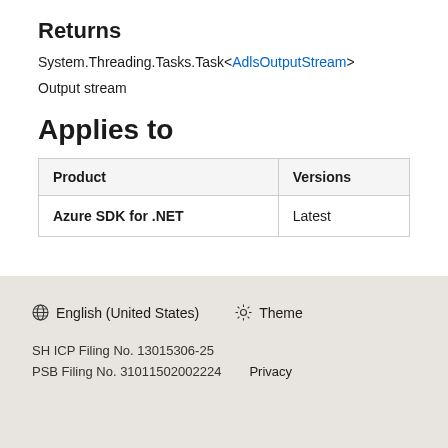Returns
System.Threading.Tasks.Task<AdlsOutputStream>
Output stream
Applies to
| Product | Versions |
| --- | --- |
| Azure SDK for .NET | Latest |
English (United States)  Theme  SH ICP Filing No. 13015306-25  PSB Filing No. 31011502002224  Privacy